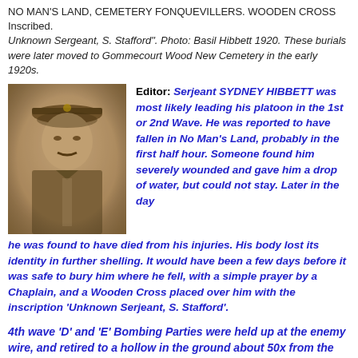NO MAN'S LAND, CEMETERY FONQUEVILLERS. WOODEN CROSS Inscribed. 'Unknown Sergeant, S. Stafford". Photo: Basil Hibbett 1920. These burials were later moved to Gommecourt Wood New Cemetery in the early 1920s.
[Figure (photo): Sepia-toned portrait photograph of Serjeant Sydney Hibbett in military uniform with cap]
Editor: Serjeant SYDNEY HIBBETT was most likely leading his platoon in the 1st or 2nd Wave. He was reported to have fallen in No Man's Land, probably in the first half hour. Someone found him severely wounded and gave him a drop of water, but could not stay. Later in the day he was found to have died from his injuries. His body lost its identity in further shelling. It would have been a few days before it was safe to bury him where he fell, with a simple prayer by a Chaplain, and a Wooden Cross placed over him with the inscription 'Unknown Serjeant, S. Stafford'.
4th wave 'D' and 'E' Bombing Parties were held up at the enemy wire, and retired to a hollow in the ground about 50x from the German wire. Our detail of the 5th wave was